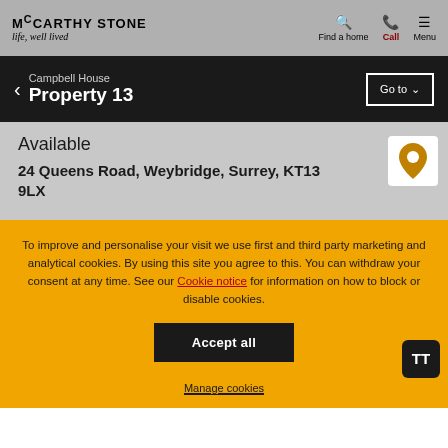McCARTHY STONE — life, well lived — Find a home | Call | Menu
Campbell House — Property 13 — Go to
Available
24 Queens Road, Weybridge, Surrey, KT13 9LX
To improve and personalise your visit we use first and third party marketing and analytical cookies. By using this site you agree to this. You can withdraw your consent at any time. See our Cookie notice for information on how to block or disable cookies.
Accept all
Manage cookies